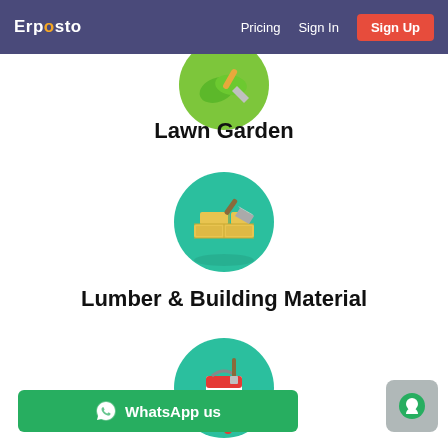Erposto — Pricing | Sign In | Sign Up
[Figure (illustration): Green circle icon with lawn garden tools (trowel and leaf), partially cropped at top]
Lawn Garden
[Figure (illustration): Teal/green circle icon with yellow bricks and a trowel representing lumber and building material]
Lumber & Building Material
[Figure (illustration): Teal/green circle icon with a red paint bucket, partially visible at bottom]
WhatsApp us
[Figure (illustration): Gray rounded square chat widget with green circle and chat bubble icon]